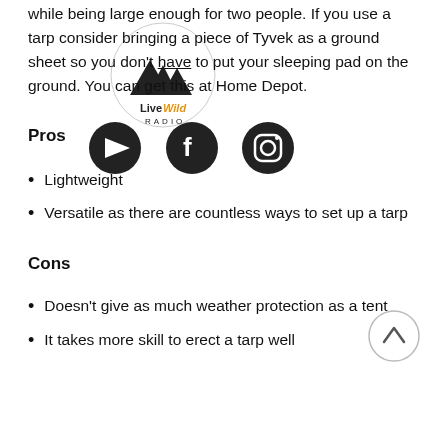while being large enough for two people. If you use a tarp consider bringing a piece of Tyvek as a ground sheet so you don't have to put your sleeping pad on the ground. You can get this at Home Depot.
Pros
Lightweight
Versatile as there are countless ways to set up a tarp
Cons
Doesn't give as much weather protection as a tent
It takes more skill to erect a tarp well